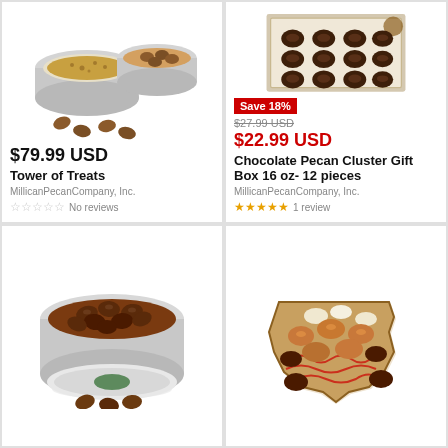[Figure (photo): Tower of Treats product - two silver tins with pecans and golden granola, with loose pecans scattered in front]
$79.99 USD
Tower of Treats
MillicanPecanCompany, Inc.
No reviews
[Figure (photo): Chocolate Pecan Cluster Gift Box showing 12 chocolate pecan clusters arranged in a decorative white and brown box]
Save 18%
$27.99 USD
$22.99 USD
Chocolate Pecan Cluster Gift Box 16 oz- 12 pieces
MillicanPecanCompany, Inc.
1 review
[Figure (photo): Open silver tin filled with chocolate covered pecans, with a few loose pecans in front]
[Figure (photo): Texas-shaped wicker tray filled with assorted pecan candies including chocolate pecans, pralines, and white chocolate items on red shredded filler]